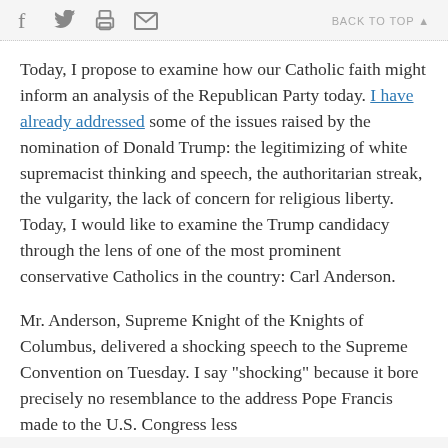f  [twitter]  [print]  [mail]   BACK TO TOP ▲
Today, I propose to examine how our Catholic faith might inform an analysis of the Republican Party today. I have already addressed some of the issues raised by the nomination of Donald Trump: the legitimizing of white supremacist thinking and speech, the authoritarian streak, the vulgarity, the lack of concern for religious liberty. Today, I would like to examine the Trump candidacy through the lens of one of the most prominent conservative Catholics in the country: Carl Anderson.
Mr. Anderson, Supreme Knight of the Knights of Columbus, delivered a shocking speech to the Supreme Convention on Tuesday. I say "shocking" because it bore precisely no resemblance to the address Pope Francis made to the U.S. Congress less than a year ago. After listening, the sense to...